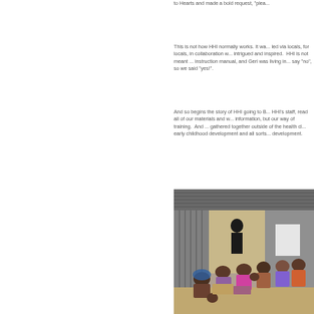to Hearts and made a bold request, "plea...
This is not how HHI normally works. It wa... led via locals, for locals, in collaboration w... intrigued and inspired. HHI is not meant ... instruction manual, and Geri was living in... say “no”, so we said “yes!”.
And so begins the story of HHI going to B... HHI’s staff, read all of our materials and w... information, but our way of training. And... gathered together outside of the health cl... early childhood development and all sorts... development.
[Figure (photo): Group of women and children gathered outside a corrugated metal building for a community health training session.]